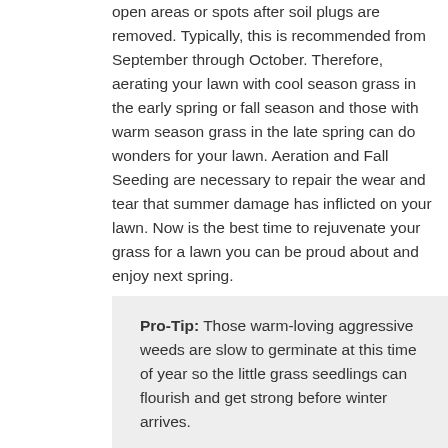open areas or spots after soil plugs are removed. Typically, this is recommended from September through October. Therefore, aerating your lawn with cool season grass in the early spring or fall season and those with warm season grass in the late spring can do wonders for your lawn. Aeration and Fall Seeding are necessary to repair the wear and tear that summer damage has inflicted on your lawn. Now is the best time to rejuvenate your grass for a lawn you can be proud about and enjoy next spring.
Pro-Tip: Those warm-loving aggressive weeds are slow to germinate at this time of year so the little grass seedlings can flourish and get strong before winter arrives.